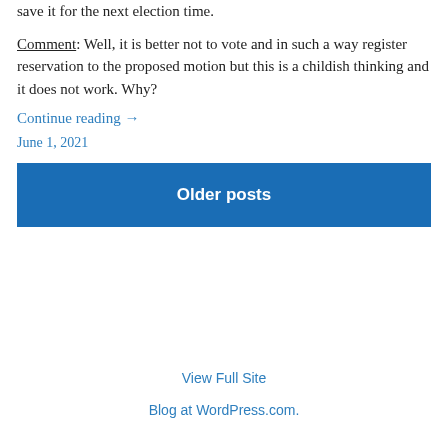save it for the next election time.
Comment: Well, it is better not to vote and in such a way register reservation to the proposed motion but this is a childish thinking and it does not work. Why?
Continue reading →
June 1, 2021
Older posts
View Full Site
Blog at WordPress.com.